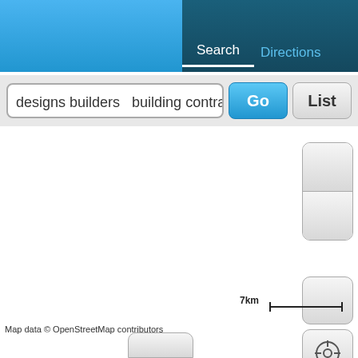[Figure (screenshot): Mobile map application UI with blue header bar, dark teal tab panel showing Search and Directions tabs, search input field with text 'designs builders   building contractors n', Go button, List button, empty white map area, zoom controls on right side, map type button, location crosshair button, scale bar showing 7km, OpenStreetMap attribution, and a partial button at bottom center.]